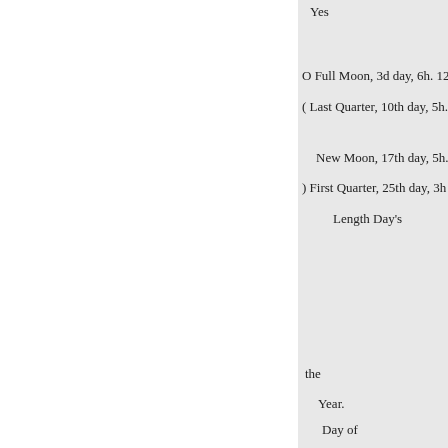Yes
O Full Moon, 3d day, 6h. 12
( Last Quarter, 10th day, 5h.
New Moon, 17th day, 5h.
) First Quarter, 25th day, 3h
Length Day's
the
Year.
Day of
Day of
the Week.
Rises.] Sets.
of Days. Decre.  .  .1  .